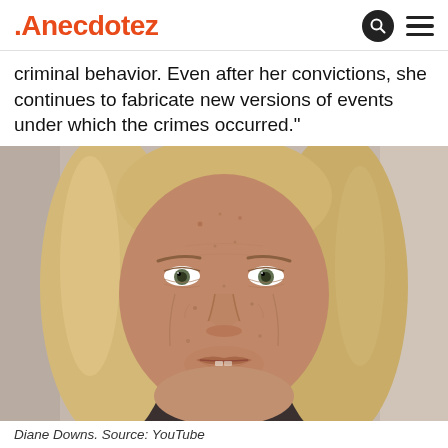Anecdotez
criminal behavior. Even after her convictions, she continues to fabricate new versions of events under which the crimes occurred."
[Figure (photo): Mugshot photo of Diane Downs, a middle-aged woman with long blonde hair, facing the camera with a neutral expression against a gray background.]
Diane Downs. Source: YouTube